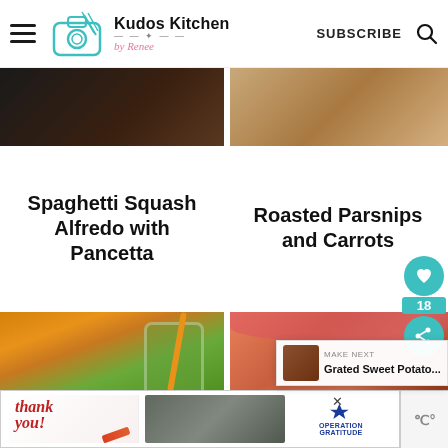Kudos Kitchen by Renee — SUBSCRIBE
[Figure (photo): Dark food photo (left) and wood texture photo (right) — top row partial images]
Spaghetti Squash Alfredo with Pancetta
Roasted Parsnips and Carrots
[Figure (photo): Green smoothie in a mason jar with pumpkin (left) and grilled meat patties on pink plate (right)]
[Figure (photo): Grated Sweet Potato... — toast notification with thumbnail]
[Figure (photo): Operation Gratitude advertisement banner — thank you military themed ad]